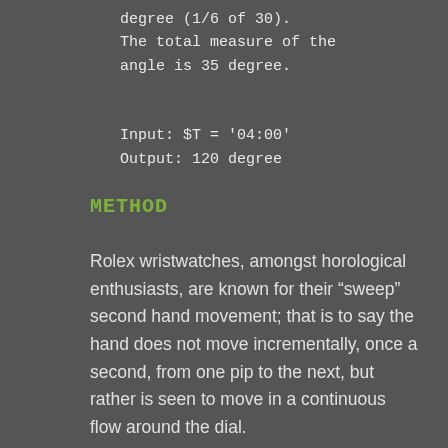degree (1/6 of 30).
The total measure of the angle is 35 degree.

Input: $T = '04:00'
Output: 120 degree
METHOD
Rolex wristwatches, amongst horological enthusiasts, are known for their “sweep” second hand movement; that is to say the hand does not move incrementally, once a second, from one pip to the next, but rather is seen to move in a continuous flow around the dial.